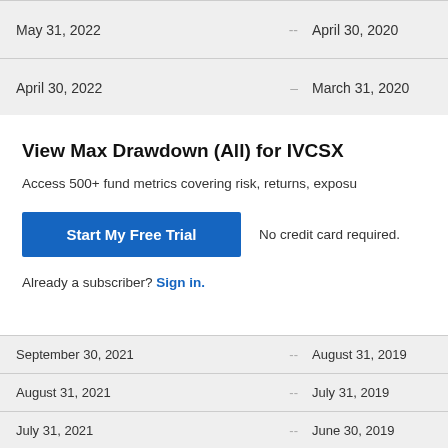| May 31, 2022 | -- | April 30, 2020 |
| April 30, 2022 | -- | March 31, 2020 |
View Max Drawdown (All) for IVCSX
Access 500+ fund metrics covering risk, returns, exposu
Start My Free Trial
No credit card required.
Already a subscriber? Sign in.
| September 30, 2021 | -- | August 31, 2019 |
| August 31, 2021 | -- | July 31, 2019 |
| July 31, 2021 | -- | June 30, 2019 |